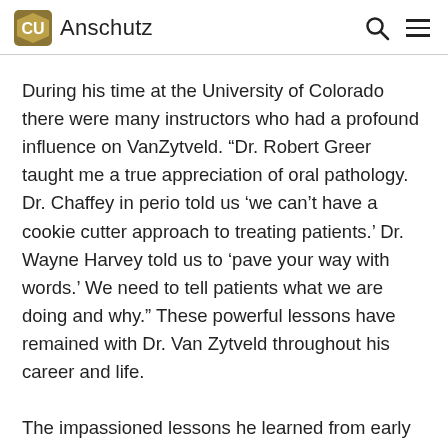CU Anschutz
During his time at the University of Colorado there were many instructors who had a profound influence on VanZytveld. “Dr. Robert Greer taught me a true appreciation of oral pathology. Dr. Chaffey in perio told us ‘we can’t have a cookie cutter approach to treating patients.’ Dr. Wayne Harvey told us to ‘pave your way with words.’ We need to tell patients what we are doing and why.” These powerful lessons have remained with Dr. Van Zytveld throughout his career and life.
The impassioned lessons he learned from early mentors influenced his future work and inspired him